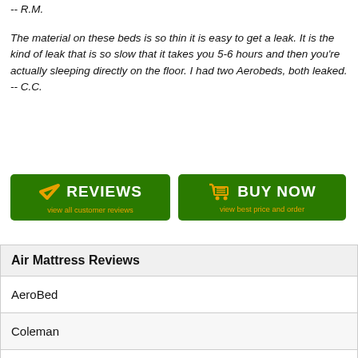-- R.M.
The material on these beds is so thin it is easy to get a leak. It is the kind of leak that is so slow that it takes you 5-6 hours and then you're actually sleeping directly on the floor. I had two Aerobeds, both leaked. -- C.C.
[Figure (other): Two green buttons: REVIEWS (view all customer reviews) and BUY NOW (view best price and order)]
| Air Mattress Reviews |
| --- |
| AeroBed |
| Coleman |
| Intex |